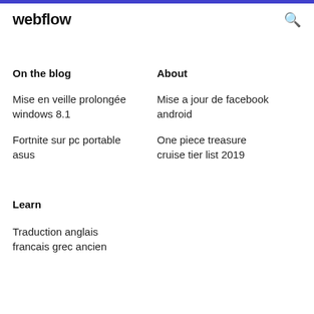webflow
On the blog
About
Mise en veille prolongée windows 8.1
Mise a jour de facebook android
Fortnite sur pc portable asus
One piece treasure cruise tier list 2019
Learn
Traduction anglais francais grec ancien